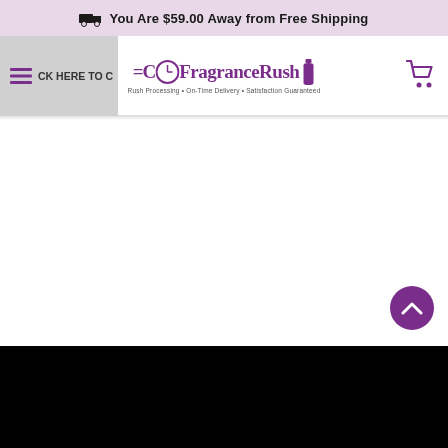You Are $59.00 Away from Free Shipping
[Figure (logo): FragranceRush logo with clock/fragrance bottle icon and tagline: Rush Processing • On-Time Delivery • Satisfaction Guaranteed]
[Figure (other): Scroll-to-top circular purple button with upward chevron arrow]